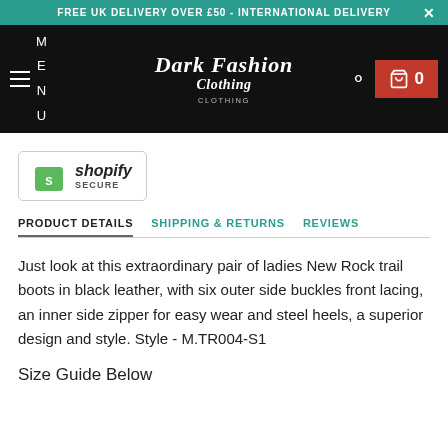FREE UK DELIVERY OVER £50 - INTERNATIONAL DELIVERY  ×
[Figure (logo): Dark Fashion Clothing brand logo in gothic font on black navigation bar, with hamburger menu on left showing letters M E N U, search icon and red shopping cart button showing 0 on right. Shopify Secure badge below nav bar.]
PRODUCT DETAILS   SHIPPING & RETURNS   REVIEWS
Just look at this extraordinary pair of ladies New Rock trail boots in black leather, with six outer side buckles front lacing, an inner side zipper for easy wear and steel heels, a superior design and style. Style - M.TR004-S1
Size Guide Below